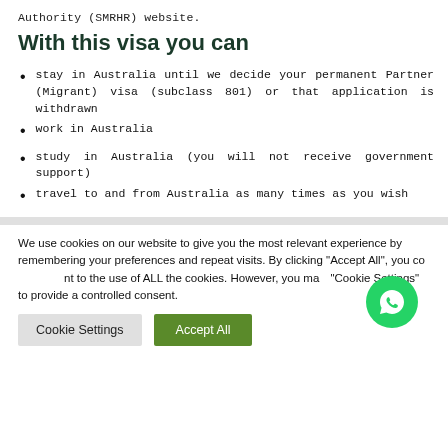Authority (SMRHR) website.
With this visa you can
stay in Australia until we decide your permanent Partner (Migrant) visa (subclass 801) or that application is withdrawn
work in Australia
study in Australia (you will not receive government support)
travel to and from Australia as many times as you wish
We use cookies on our website to give you the most relevant experience by remembering your preferences and repeat visits. By clicking "Accept All", you consent to the use of ALL the cookies. However, you may visit "Cookie Settings" to provide a controlled consent.
Cookie Settings | Accept All